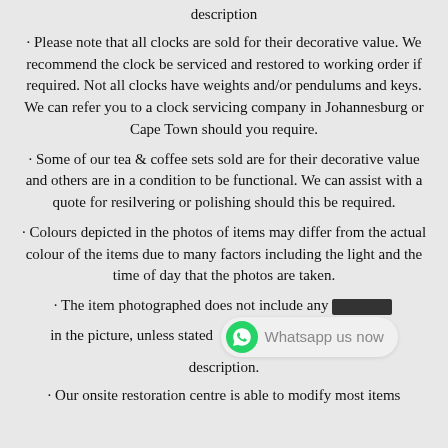description
· Please note that all clocks are sold for their decorative value. We recommend the clock be serviced and restored to working order if required. Not all clocks have weights and/or pendulums and keys. We can refer you to a clock servicing company in Johannesburg or Cape Town should you require.
· Some of our tea & coffee sets sold are for their decorative value and others are in a condition to be functional. We can assist with a quote for resilvering or polishing should this be required.
· Colours depicted in the photos of items may differ from the actual colour of the items due to many factors including the light and the time of day that the photos are taken.
· The item photographed does not include any accessories in the picture, unless stated otherwise in the description.
· Our onsite restoration centre is able to modify most items